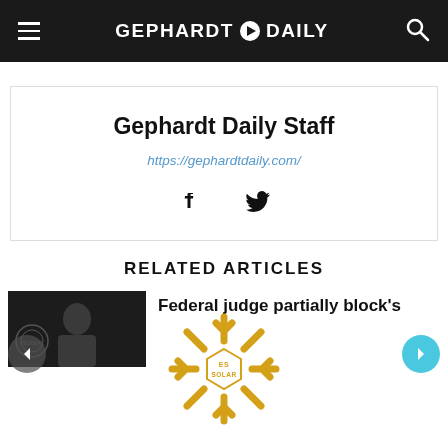GEPHARDT DAILY
Gephardt Daily Staff
https://gephardtdaily.com/
[Figure (logo): Facebook and Twitter social media icons]
RELATED ARTICLES
[Figure (photo): Thumbnail image of a person in front of a Federal Reserve seal]
Federal judge partially block's
[Figure (logo): ES SOLAR logo — a snowflake/asterisk shape in gold with 'ES SOLAR' text in the center]